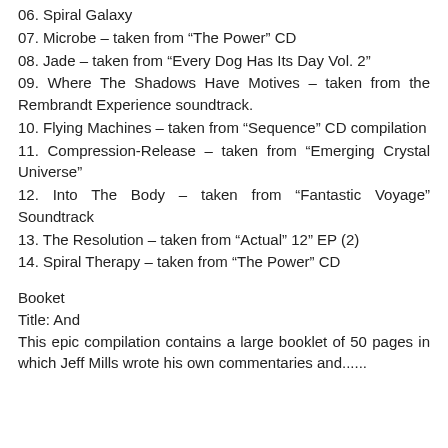06. Spiral Galaxy
07. Microbe – taken from “The Power” CD
08. Jade – taken from “Every Dog Has Its Day Vol. 2”
09. Where The Shadows Have Motives – taken from the Rembrandt Experience soundtrack.
10. Flying Machines – taken from “Sequence” CD compilation
11. Compression-Release – taken from “Emerging Crystal Universe”
12. Into The Body – taken from “Fantastic Voyage” Soundtrack
13. The Resolution – taken from “Actual” 12” EP (2)
14. Spiral Therapy – taken from “The Power” CD
Booket
Title: And
This epic compilation contains a large booklet of 50 pages in which Jeff Mills wrote his own commentaries and...